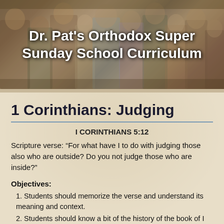[Figure (illustration): Banner header with Byzantine/Orthodox style mosaic or icon artwork showing figures in robes, with bold white title text overlaid: 'Dr. Pat's Orthodox Super Sunday School Curriculum']
1 Corinthians: Judging
I CORINTHIANS 5:12
Scripture verse: “For what have I to do with judging those also who are outside? Do you not judge those who are inside?”
Objectives:
1. Students should memorize the verse and understand its meaning and context.
2. Students should know a bit of the history of the book of I Corinthians.
3. Students should have some concrete ideas about how